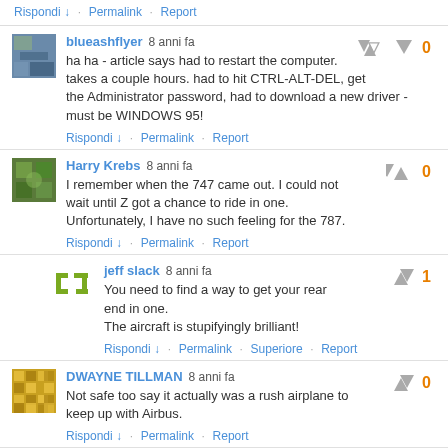Rispondi · Permalink · Report
blueashflyer 8 anni fa — ha ha - article says had to restart the computer. takes a couple hours. had to hit CTRL-ALT-DEL, get the Administrator password, had to download a new driver - must be WINDOWS 95! — Rispondi · Permalink · Report — vote: 0
Harry Krebs 8 anni fa — I remember when the 747 came out. I could not wait until Z got a chance to ride in one. Unfortunately, I have no such feeling for the 787. — Rispondi · Permalink · Report — vote: 0
jeff slack 8 anni fa — You need to find a way to get your rear end in one. The aircraft is stupifyingly brilliant! — Rispondi · Permalink · Superiore · Report — vote: 1
DWAYNE TILLMAN 8 anni fa — Not safe too say it actually was a rush airplane to keep up with Airbus. — Rispondi · Permalink · Report — vote: 0